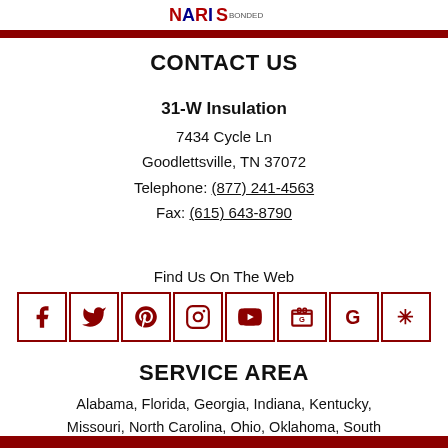NARIS logo
CONTACT US
31-W Insulation
7434 Cycle Ln
Goodlettsville, TN 37072
Telephone: (877) 241-4563
Fax: (615) 643-8790
Find Us On The Web
[Figure (infographic): Social media icons in red bordered boxes: Facebook, Twitter, Pinterest, Instagram, YouTube, Google Business, Google, Angi (formerly Angie's List)]
SERVICE AREA
Alabama, Florida, Georgia, Indiana, Kentucky, Missouri, North Carolina, Ohio, Oklahoma, South Carolina, Tennessee, Texas